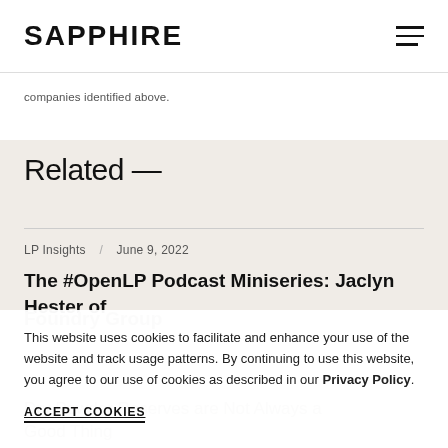SAPPHIRE
companies identified above.
Related —
LP Insights / June 9, 2022
The #OpenLP Podcast Miniseries: Jaclyn Hester of Foundry Group
This website uses cookies to facilitate and enhance your use of the website and track usage patterns. By continuing to use this website, you agree to our use of cookies as described in our Privacy Policy.
ACCEPT COOKIES
Dry Powder Reserves are Not Always a Good Thing